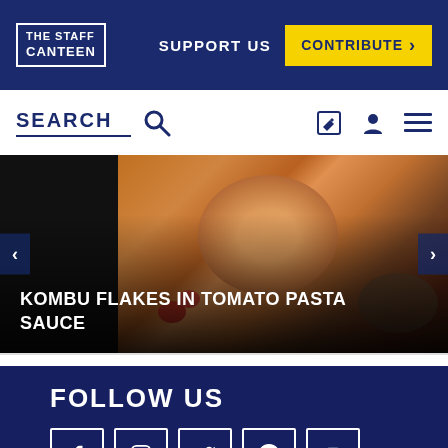THE STAFF CANTEEN
SUPPORT US
CONTRIBUTE >
SEARCH
KOMBU FLAKES IN TOMATO PASTA SAUCE
FOLLOW US
[Figure (other): Social media icons: Facebook, Instagram, Twitter, Pinterest, YouTube]